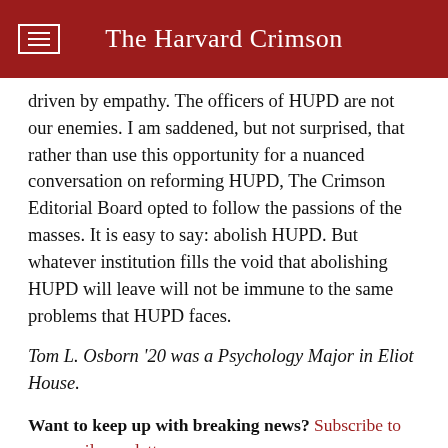The Harvard Crimson
driven by empathy. The officers of HUPD are not our enemies. I am saddened, but not surprised, that rather than use this opportunity for a nuanced conversation on reforming HUPD, The Crimson Editorial Board opted to follow the passions of the masses. It is easy to say: abolish HUPD. But whatever institution fills the void that abolishing HUPD will leave will not be immune to the same problems that HUPD faces.
Tom L. Osborn '20 was a Psychology Major in Eliot House.
Want to keep up with breaking news? Subscribe to our email newsletter.
TAGS   LETTERS